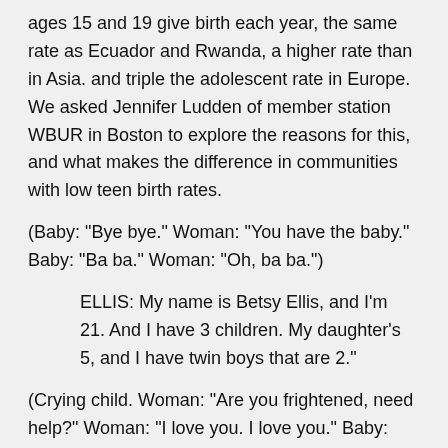ages 15 and 19 give birth each year, the same rate as Ecuador and Rwanda, a higher rate than in Asia. and triple the adolescent rate in Europe. We asked Jennifer Ludden of member station WBUR in Boston to explore the reasons for this, and what makes the difference in communities with low teen birth rates.
(Baby: "Bye bye." Woman: "You have the baby." Baby: "Ba ba." Woman: "Oh, ba ba.")
ELLIS: My name is Betsy Ellis, and I'm 21. And I have 3 children. My daughter's 5, and I have twin boys that are 2."
(Crying child. Woman: "Are you frightened, need help?" Woman: "I love you. I love you." Baby: "Ba ba." Woman: "Kissy kissy.")
LUDDEN: Betsy Ellis laughs nervously. Her large brown